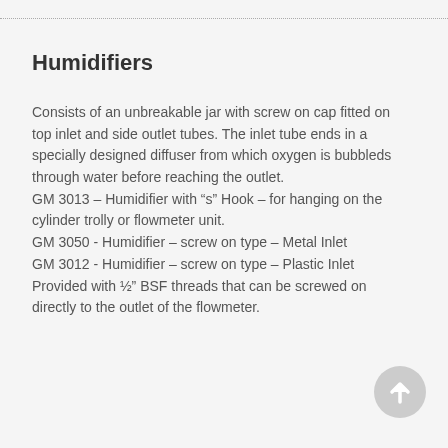Humidifiers
Consists of an unbreakable jar with screw on cap fitted on top inlet and side outlet tubes. The inlet tube ends in a specially designed diffuser from which oxygen is bubbleds through water before reaching the outlet.
GM 3013 – Humidifier with “s” Hook – for hanging on the cylinder trolly or flowmeter unit.
GM 3050 - Humidifier – screw on type – Metal Inlet
GM 3012 - Humidifier – screw on type – Plastic Inlet
Provided with ½” BSF threads that can be screwed on directly to the outlet of the flowmeter.